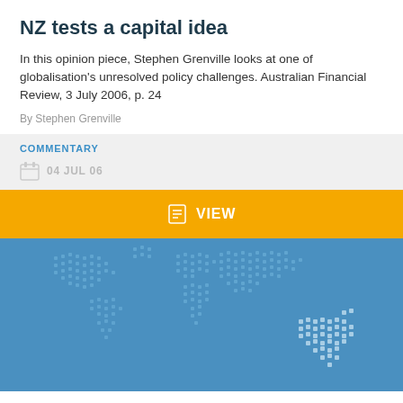NZ tests a capital idea
In this opinion piece, Stephen Grenville looks at one of globalisation's unresolved policy challenges. Australian Financial Review, 3 July 2006, p. 24
By Stephen Grenville
COMMENTARY
04 JUL 06
VIEW
[Figure (illustration): World map with dotted/pixel pattern in blue tones, showing continents]